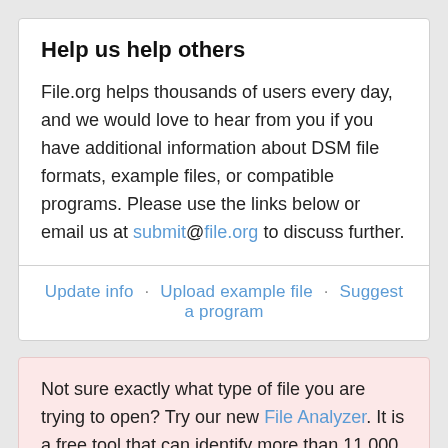Help us help others
File.org helps thousands of users every day, and we would love to hear from you if you have additional information about DSM file formats, example files, or compatible programs. Please use the links below or email us at submit@file.org to discuss further.
Update info · Upload example file · Suggest a program
Not sure exactly what type of file you are trying to open? Try our new File Analyzer. It is a free tool that can identify more than 11,000 different kinds of files - most likely yours too! It will help you find software that can handle your specific type of file. Download File Analyzer here